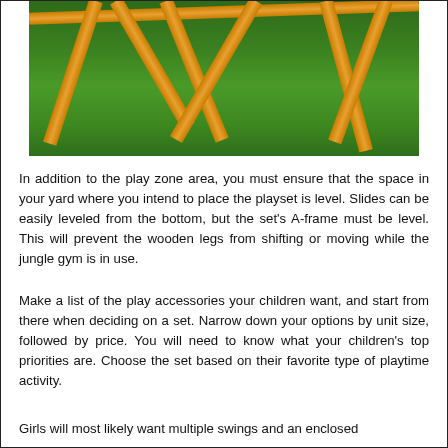[Figure (photo): Outdoor photo of a wooden A-frame jungle gym / playset on green grass, showing diagonal wooden legs and a crossbar structure from a low angle.]
In addition to the play zone area, you must ensure that the space in your yard where you intend to place the playset is level. Slides can be easily leveled from the bottom, but the set's A-frame must be level. This will prevent the wooden legs from shifting or moving while the jungle gym is in use.
Make a list of the play accessories your children want, and start from there when deciding on a set. Narrow down your options by unit size, followed by price. You will need to know what your children's top priorities are. Choose the set based on their favorite type of playtime activity.
Girls will most likely want multiple swings and an enclosed